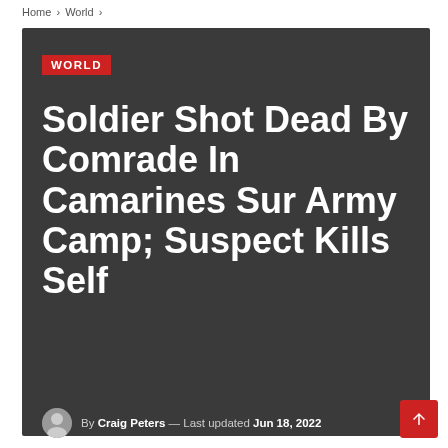Home › World ›
WORLD
Soldier Shot Dead By Comrade In Camarines Sur Army Camp; Suspect Kills Self
By Craig Peters — Last updated Jun 18, 2022